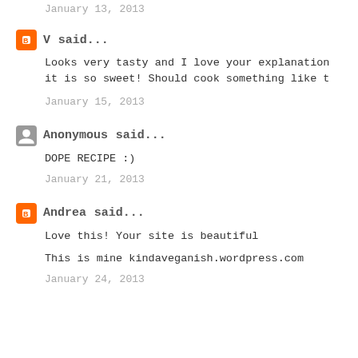January 13, 2013
V said...
Looks very tasty and I love your explanation it is so sweet! Should cook something like t
January 15, 2013
Anonymous said...
DOPE RECIPE :)
January 21, 2013
Andrea said...
Love this! Your site is beautiful
This is mine kindaveganish.wordpress.com
January 24, 2013